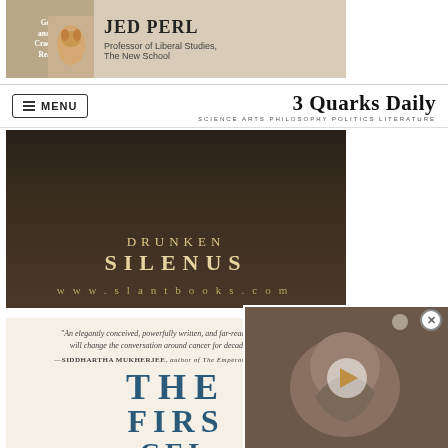[Figure (photo): Book advertisement for a publication about Gods and the Cracks in Reality, with a dog/sculpture figure, top banner ad]
MENU | 3 Quarks Daily — SCIENCE ARTS PHILOSOPHY POLITICS LITERATURE
[Figure (photo): Book advertisement for Drunken Silenus from slantbooks.com, dark brown background with text]
[Figure (photo): Book advertisement for 'The First Cell' with quote from Siddhartha Mukherjee, author of The Emperor of All Maladies. Cream background with blue lettering.]
[Figure (photo): Video overlay showing animal (possibly platypus embryo) with play button]